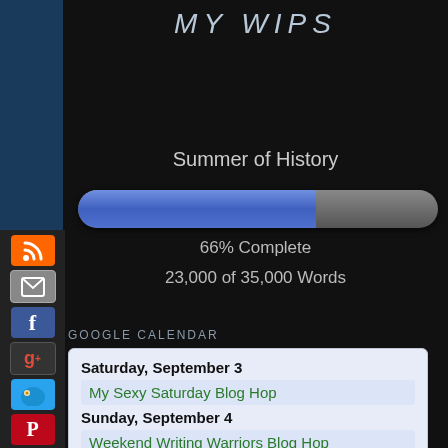MY WIPS
Summer of History
[Figure (other): Progress bar showing 66% complete, blue fill on left, grey on right]
66% Complete
23,000 of 35,000 Words
GOOGLE CALENDAR
[Figure (screenshot): Google Calendar widget showing Saturday September 3 - My Sexy Saturday Blog Hop, Sunday September 4 - Weekend Writing Warriors Blog Hop, Saturday September 10, with Google Calendar logo link]
[Figure (other): Social media sidebar with RSS, email, Facebook, Google+, Twitter, Pinterest buttons]